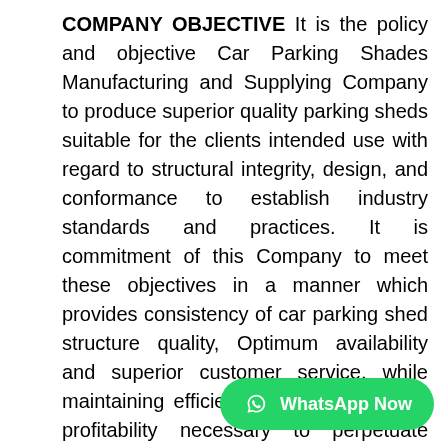COMPANY OBJECTIVE It is the policy and objective Car Parking Shades Manufacturing and Supplying Company to produce superior quality parking sheds suitable for the clients intended use with regard to structural integrity, design, and conformance to establish industry standards and practices. It is commitment of this Company to meet these objectives in a manner which provides consistency of car parking shed structure quality, Optimum availability and superior customer service, while maintaining efficiency of operations and profitability necessary to perpetuate product improvement and customer satisfaction.. More it is recognized that the attainment of these objectives is the responsibility of all Company operations according to their resp